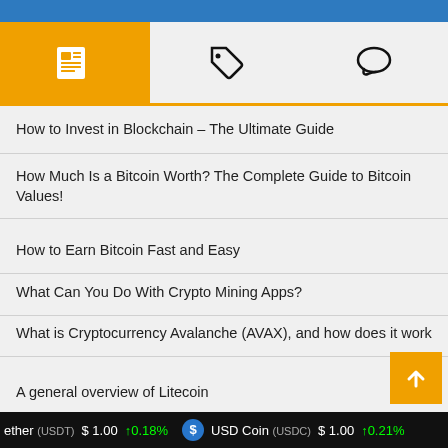[Figure (screenshot): Blue blockchain network banner at top]
[Figure (screenshot): Navigation tab bar with news (active/orange), tag, and chat icons]
How to Invest in Blockchain – The Ultimate Guide
How Much Is a Bitcoin Worth? The Complete Guide to Bitcoin Values!
How to Earn Bitcoin Fast and Easy
What Can You Do With Crypto Mining Apps?
What is Cryptocurrency Avalanche (AVAX), and how does it work
A general overview of Litecoin
How to choose the best Bitcoin wallet
ether (USDT) $1.00 ↑0.18% USD Coin (USDC) $1.00 ↑0.21%